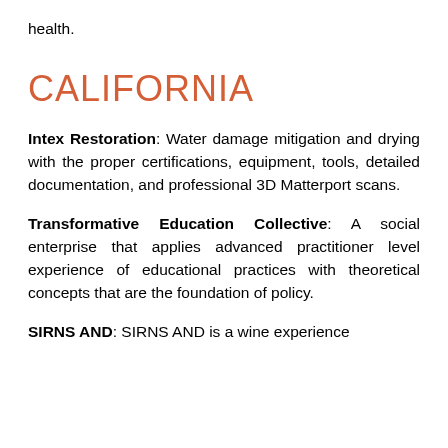health.
CALIFORNIA
Intex Restoration: Water damage mitigation and drying with the proper certifications, equipment, tools, detailed documentation, and professional 3D Matterport scans.
Transformative Education Collective: A social enterprise that applies advanced practitioner level experience of educational practices with theoretical concepts that are the foundation of policy.
SIRNS AND: SIRNS AND is a wine experience